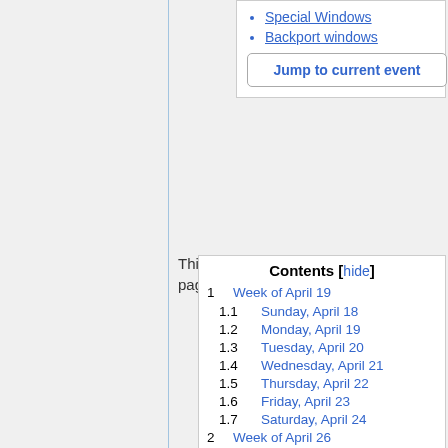Special Windows
Backport windows
Jump to current event
This page
Contents [hide]
1  Week of April 19
1.1  Sunday, April 18
1.2  Monday, April 19
1.3  Tuesday, April 20
1.4  Wednesday, April 21
1.5  Thursday, April 22
1.6  Friday, April 23
1.7  Saturday, April 24
2  Week of April 26
2.1  Sunday, April 25
2.2  Monday, April 26
2.3  Tuesday, April 27
2.4  Wednesday, April 28
2.5  Thursday, April 29